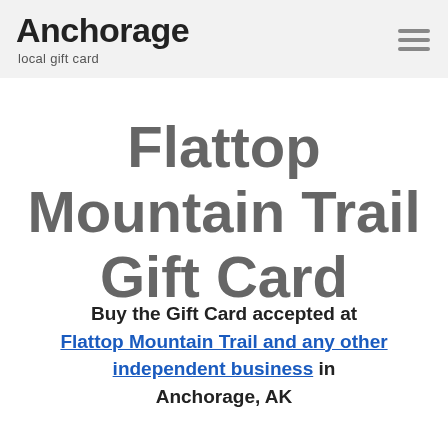Anchorage local gift card
Flattop Mountain Trail Gift Card
Buy the Gift Card accepted at Flattop Mountain Trail and any other independent business in Anchorage, AK